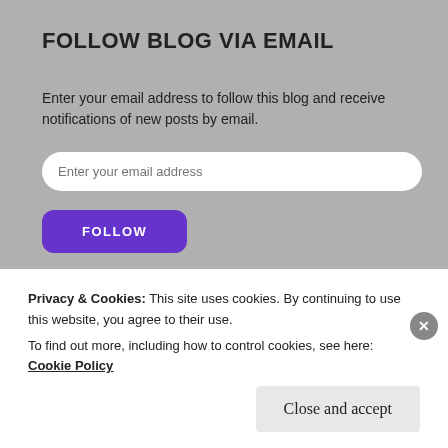FOLLOW BLOG VIA EMAIL
Enter your email address to follow this blog and receive notifications of new posts by email.
[Figure (screenshot): Email input field with placeholder text 'Enter your email address']
[Figure (screenshot): Purple FOLLOW button]
[Figure (screenshot): Search input field with placeholder text 'Search ...']
Privacy & Cookies: This site uses cookies. By continuing to use this website, you agree to their use. To find out more, including how to control cookies, see here: Cookie Policy
[Figure (screenshot): Close and accept button]